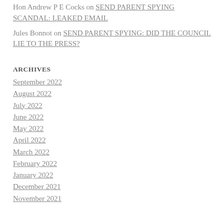Hon Andrew P E Cocks on SEND PARENT SPYING SCANDAL: LEAKED EMAIL
Jules Bonnot on SEND PARENT SPYING: DID THE COUNCIL LIE TO THE PRESS?
ARCHIVES
September 2022
August 2022
July 2022
June 2022
May 2022
April 2022
March 2022
February 2022
January 2022
December 2021
November 2021